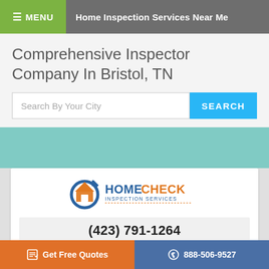≡ MENU  Home Inspection Services Near Me
Comprehensive Inspector Company In Bristol, TN
Search By Your City  SEARCH
[Figure (logo): HomeCheck Inspection Services logo with orange house icon and blue circular arrow]
(423) 791-1264
Home Check Inspections Services, LLC In Bristol, TN
Get Free Quotes  888-506-9527